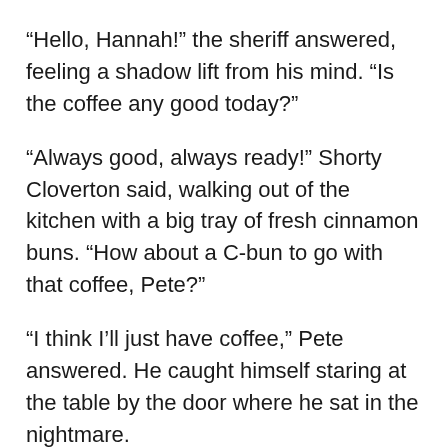“Hello, Hannah!” the sheriff answered, feeling a shadow lift from his mind. “Is the coffee any good today?”
“Always good, always ready!” Shorty Cloverton said, walking out of the kitchen with a big tray of fresh cinnamon buns. “How about a C-bun to go with that coffee, Pete?”
“I think I’ll just have coffee,” Pete answered. He caught himself staring at the table by the door where he sat in the nightmare.
“Suit yourself, Sheriff, but these are warm and the icing is running off like a spring thaw.”